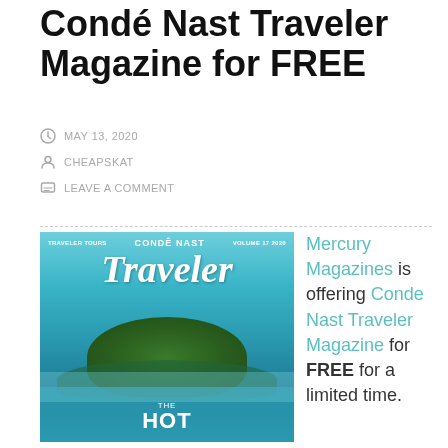Condé Nast Traveler Magazine for FREE
MAY 13, 2020
CHEAPSKAT
LEAVE A COMMENT
[Figure (photo): Cover of Condé Nast Traveler magazine showing an aerial view of a tropical island surrounded by turquoise water, with the text 'CONDÉ NAST Traveler' and 'THE HOT' visible]
Mercury Magazines is offering Conde Nast Traveler Magazine for FREE for a limited time.